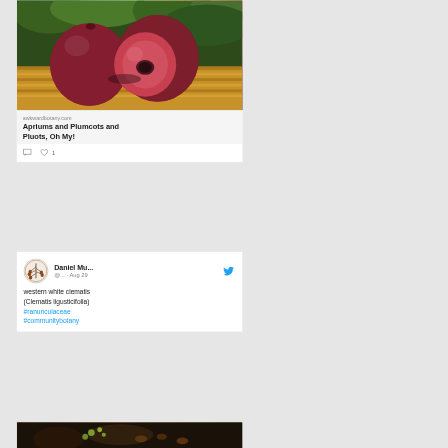[Figure (photo): Photo of dark red/purple plum-like fruits (pluots or apriums) on a wooden surface with green foliage in background]
awkwardbotany.com
Apriums and Plumcots and Pluots, Oh My!
comment icon  heart icon  1
Daniel Mu... @... · Aug 29
western white clematis (Clematis ligusticifolia) #ranunculaceae #communitybotany
[Figure (photo): Partial photo at bottom showing botanical subject, appears to be clematis plant]